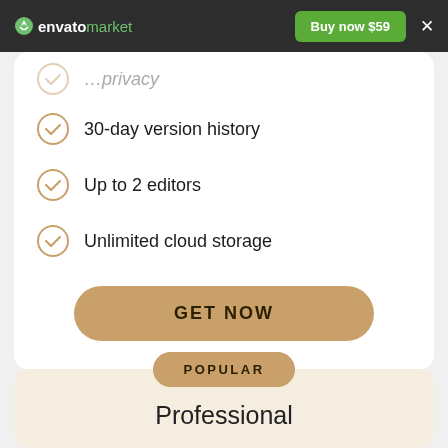envato market — Buy now $59
30-day version history
Up to 2 editors
Unlimited cloud storage
GET NOW
POPULAR
Professional